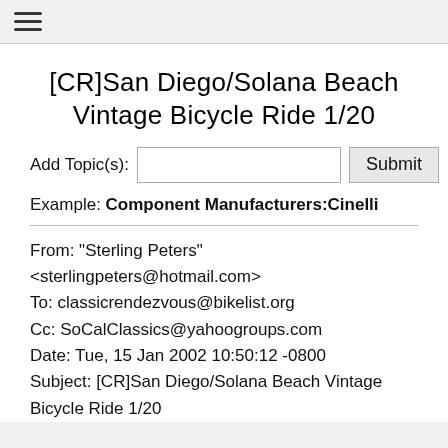≡
[CR]San Diego/Solana Beach Vintage Bicycle Ride 1/20
Add Topic(s): [input field] Submit
Example: Component Manufacturers:Cinelli
From: "Sterling Peters" <sterlingpeters@hotmail.com>
To: classicrendezvous@bikelist.org
Cc: SoCalClassics@yahoogroups.com
Date: Tue, 15 Jan 2002 10:50:12 -0800
Subject: [CR]San Diego/Solana Beach Vintage Bicycle Ride 1/20